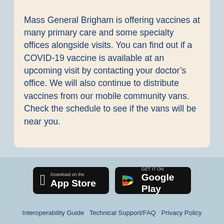Mass General Brigham is offering vaccines at many primary care and some specialty offices alongside visits. You can find out if a COVID-19 vaccine is available at an upcoming visit by contacting your doctor's office. We will also continue to distribute vaccines from our mobile community vans.  Check the schedule to see if the vans will be near you.
[Figure (other): App store download badges: 'Download on the App Store' (Apple) and 'GET IT ON Google Play' (Google)]
Interoperability Guide  Technical Support/FAQ  Privacy Policy  Terms and Conditions  High Contrast Theme
[Figure (logo): MyChart by Epic logo]
MyChart® licensed from Epic Systems Corporation, © 1999 - 2022